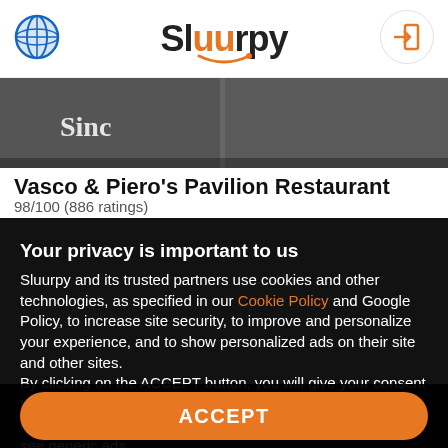Sluurpy
[Figure (photo): Restaurant storefront photo showing 'Since' text partially visible]
Vasco & Piero's Pavilion Restaurant
98/100 (886 ratings)
Your privacy is important to us
Sluurpy and its trusted partners use cookies and other technologies, as specified in our Cookie Policy and Google Policy, to increase site security, to improve and personalize your experience, and to show personalized ads on their site and other sites.
By clicking on the ACCEPT button, you will give your consent to display advertisements that are useful to you and offers relevant to your interests. By continuing to browse, you will see generic ads.
You can find the list of providers here.
ACCEPT